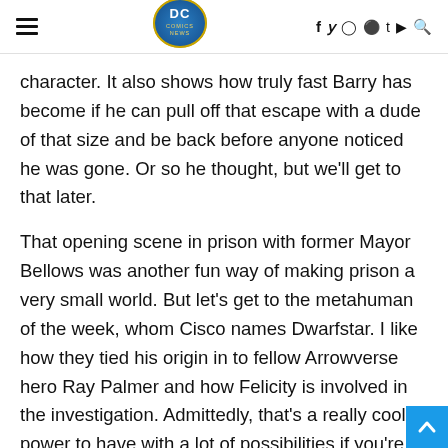[DC Comics News logo with hamburger menu and social icons: f, twitter, instagram, pinterest, t, youtube, search]
character. It also shows how truly fast Barry has become if he can pull off that escape with a dude of that size and be back before anyone noticed he was gone. Or so he thought, but we'll get to that later.
That opening scene in prison with former Mayor Bellows was another fun way of making prison a very small world. But let's get to the metahuman of the week, whom Cisco names Dwarfstar. I like how they tied his origin in to fellow Arrowverse hero Ray Palmer and how Felicity is involved in the investigation. Admittedly, that's a really cool power to have with a lot of possibilities if you're a collector. Still, not a fun power when you're Cisco and Ralph. I've been waiting to see someone step on Ralph and do a gum-on-your-shoe ga The high-pitched voices were a hilarious way of getting